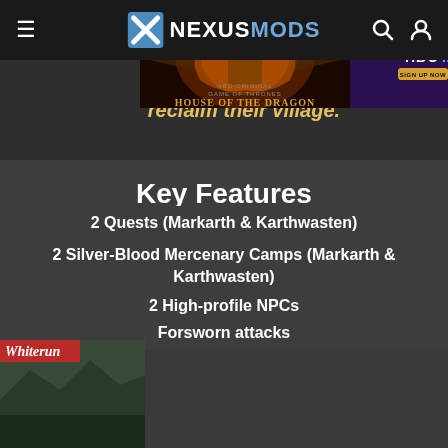NEXUSMODS
reclaim their village.
Key Features
2 Quests (Markarth & Karthwasten)
2 Silver-Blood Mercenary Camps (Markarth & Karthwasten)
2 High-profile NPCs
Forsworn attacks
[Figure (screenshot): Advertisement: HBO House of the Dragon and HBO Max streaming promotion with a character surrounded by fire, alongside Whiterun screenshot thumbnail]
[Figure (other): Whiterun game scene thumbnail with red label on left side]